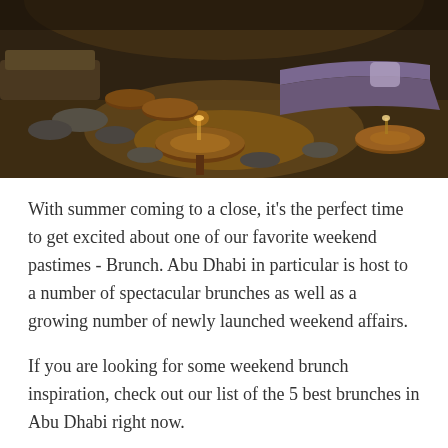[Figure (photo): Interior of an upscale restaurant/lounge with warm amber lighting, round wooden tables, grey ottomans and stools, and modern curved sofas. The atmosphere is dim and cozy.]
With summer coming to a close, it's the perfect time to get excited about one of our favorite weekend pastimes - Brunch. Abu Dhabi in particular is host to a number of spectacular brunches as well as a growing number of newly launched weekend affairs.
If you are looking for some weekend brunch inspiration, check out our list of the 5 best brunches in Abu Dhabi right now.